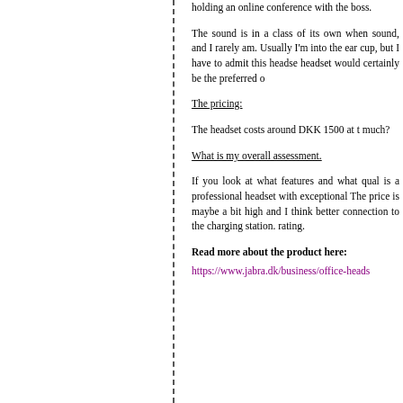holding an online conference with the boss.
The sound is in a class of its own when sound, and I rarely am. Usually I'm into the ear cup, but I have to admit this headset would certainly be the preferred o...
The pricing:
The headset costs around DKK 1500 at t... much?
What is my overall assessment.
If you look at what features and what qual... is a professional headset with exceptional... The price is maybe a bit high and I think better connection to the charging station. rating.
Read more about the product here:
https://www.jabra.dk/business/office-heads...